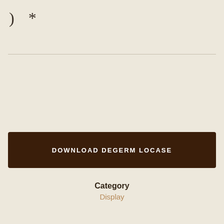) *
DOWNLOAD DEGERM LOCASE
Category
Display